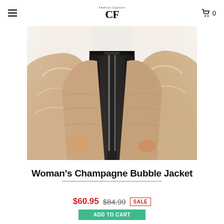Fashion Capsule CF logo, hamburger menu, cart icon with 0
[Figure (photo): Woman wearing a champagne/rose gold metallic puffer bubble jacket, open front, with black high-waist jeans. Cropped view showing torso and arms.]
Woman's Champagne Bubble Jacket
$60.95  $84.99  SALE